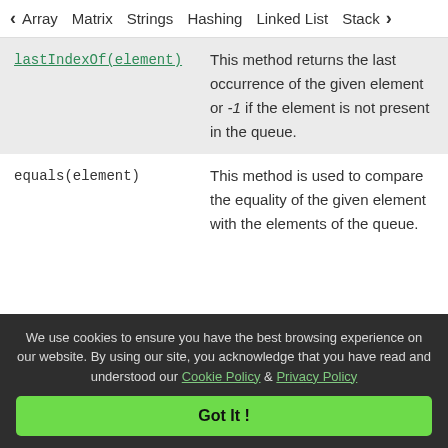< Array  Matrix  Strings  Hashing  Linked List  Stack  >
| lastIndexOf(element) | This method returns the last occurrence of the given element or -1 if the element is not present in the queue. |
| equals(element) | This method is used to compare the equality of the given element with the elements of the queue. |
We use cookies to ensure you have the best browsing experience on our website. By using our site, you acknowledge that you have read and understood our Cookie Policy & Privacy Policy
Got It !